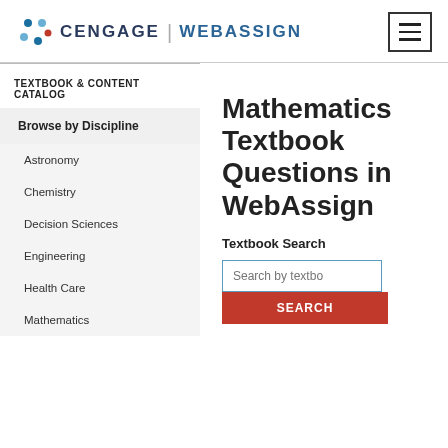[Figure (logo): Cengage | WebAssign logo with decorative icon on the left and hamburger menu icon on the right]
TEXTBOOK & CONTENT CATALOG
Browse by Discipline
Astronomy
Chemistry
Decision Sciences
Engineering
Health Care
Mathematics
Mathematics Textbook Questions in WebAssign
Textbook Search
Search by textbo [input field] SEARCH [button]